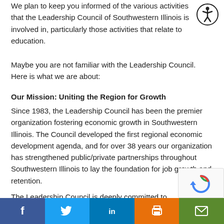We plan to keep you informed of the various activities that the Leadership Council of Southwestern Illinois is involved in, particularly those activities that relate to education.
Maybe you are not familiar with the Leadership Council. Here is what we are about:
Our Mission: Uniting the Region for Growth
Since 1983, the Leadership Council has been the premier organization fostering economic growth in Southwestern Illinois. The Council developed the first regional economic development agenda, and for over 38 years our organization has strengthened public/private partnerships throughout Southwestern Illinois to lay the foundation for job growth and retention.
The Leadership Council is deeply committed to
[Figure (illustration): Accessibility icon — a circle with a stick figure person inside]
[Figure (illustration): reCAPTCHA widget box in bottom-right corner]
Social sharing bar with buttons: Facebook (f), Twitter (bird), LinkedIn (in), Print (printer icon), Email (envelope icon)